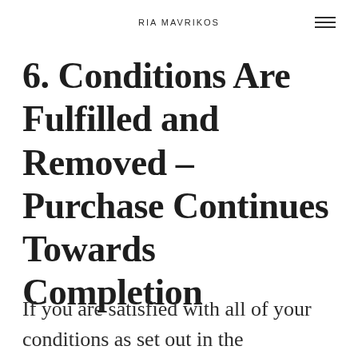RIA MAVRIKOS
6. Conditions Are Fulfilled and Removed – Purchase Continues Towards Completion
If you are satisfied with all of your conditions as set out in the